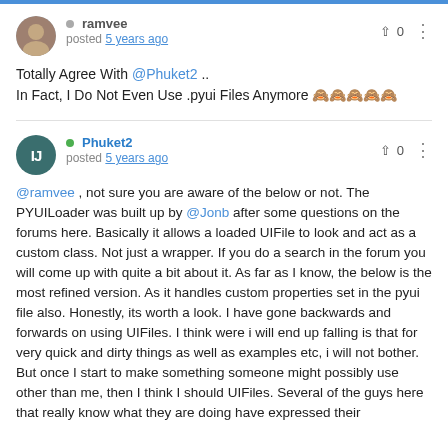ramvee posted 5 years ago
Totally Agree With @Phuket2 ..
In Fact, I Do Not Even Use .pyui Files Anymore 🙈🙈🙈🙈🙈
Phuket2 posted 5 years ago
@ramvee , not sure you are aware of the below or not. The PYUILoader was built up by @Jonb after some questions on the forums here. Basically it allows a loaded UIFile to look and act as a custom class. Not just a wrapper. If you do a search in the forum you will come up with quite a bit about it. As far as I know, the below is the most refined version. As it handles custom properties set in the pyui file also. Honestly, its worth a look. I have gone backwards and forwards on using UIFiles. I think were i will end up falling is that for very quick and dirty things as well as examples etc, i will not bother. But once I start to make something someone might possibly use other than me, then I think I should UIFiles. Several of the guys here that really know what they are doing have expressed their